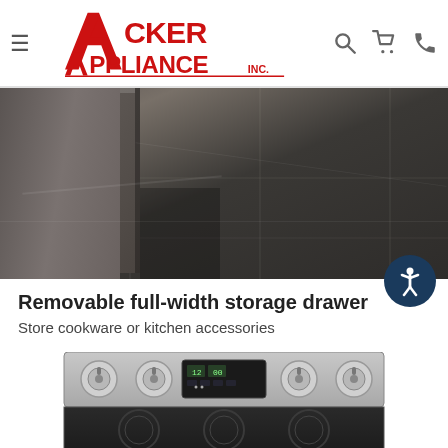Acker Appliance Inc. — navigation header with logo, search, cart, and phone icons
[Figure (photo): Close-up photo of a dark gray tile floor with a corner of an appliance (storage drawer) visible in the upper left. Dark, moody product lifestyle shot.]
Removable full-width storage drawer
Store cookware or kitchen accessories
[Figure (photo): Electric range/stove with stainless steel control panel showing four burner knobs and a digital display, with a black ceramic glass cooktop visible below.]